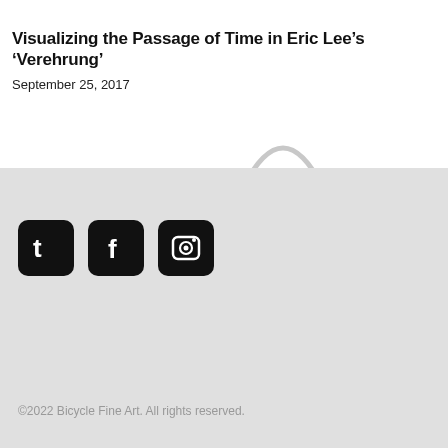Visualizing the Passage of Time in Eric Lee’s ‘Verehrung’
September 25, 2017
[Figure (illustration): Partial arc/loop shape of a bicycle wheel or similar decorative element, light grey outline visible at top of grey section]
[Figure (infographic): Three social media icons (Twitter, Facebook, Instagram) as white logos on black rounded-square backgrounds]
©2022 Bicycle Fine Art. All rights reserved.